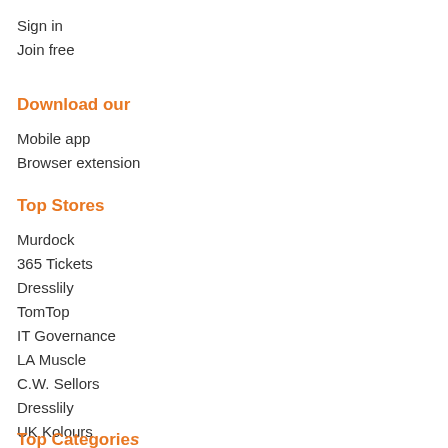Sign in
Join free
Download our
Mobile app
Browser extension
Top Stores
Murdock
365 Tickets
Dresslily
TomTop
IT Governance
LA Muscle
C.W. Sellors
Dresslily
UK Kolours
Countrywide Paintball
Top Categories